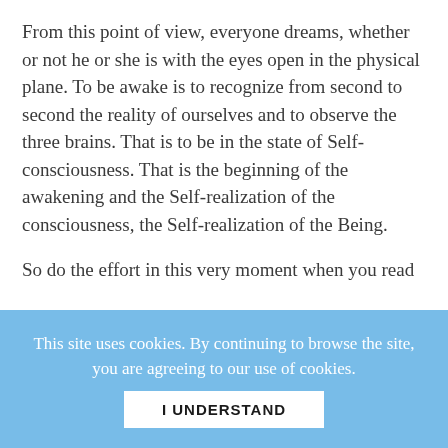From this point of view, everyone dreams, whether or not he or she is with the eyes open in the physical plane. To be awake is to recognize from second to second the reality of ourselves and to observe the three brains. That is to be in the state of Self-consciousness. That is the beginning of the awakening and the Self-realization of the consciousness, the Self-realization of the Being.

So do the effort in this very moment when you read
This site uses cookies. By continuing to browse the site, you are agreeing to our use of cookies.
I UNDERSTAND